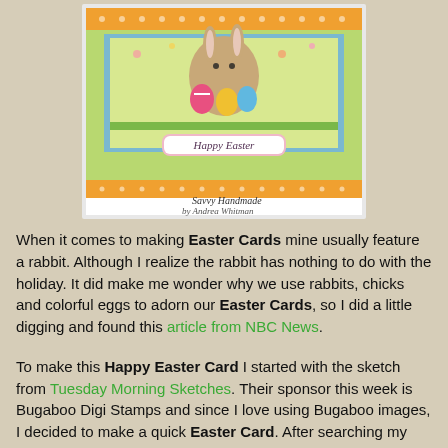[Figure (photo): A handmade Happy Easter card featuring a cartoon rabbit holding colorful Easter eggs, surrounded by floral patterned paper in orange and green, with a pink 'Happy Easter' label in the center. Signed 'Savvy Handmade by Andrea Whitman'.]
When it comes to making Easter Cards mine usually feature a rabbit. Although I realize the rabbit has nothing to do with the holiday. It did make me wonder why we use rabbits, chicks and colorful eggs to adorn our Easter Cards, so I did a little digging and found this article from NBC News.
To make this Happy Easter Card I started with the sketch from Tuesday Morning Sketches. Their sponsor this week is Bugaboo Digi Stamps and since I love using Bugaboo images, I decided to make a quick Easter Card. After searching my images I decided to us EB Eggs Easter Bunny and turn the sketch vertical to accommodate the image. The rest is pretty simple! The patterned paper is from the Spring